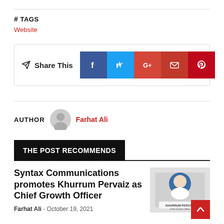# TAGS
Website
Share This — Facebook, Twitter, Google+, Email, Pinterest
AUTHOR   Farhat Ali
THE POST RECOMMENDS
Syntax Communications promotes Khurrum Pervaiz as Chief Growth Officer
Farhat Ali - October 19, 2021